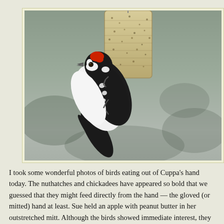[Figure (photo): A hairy or downy woodpecker clinging to a cylindrical suet feeder. The bird is black and white with a red crown patch, hanging from the seed-covered feeder. Background is blurred grey-green foliage suggesting a winter outdoor scene.]
I took some wonderful photos of birds eating out of Cuppa's hand today. The nuthatches and chickadees have appeared so bold that we guessed that they might feed directly from the hand — the gloved (or mitted) hand at least. Sue held an apple with peanut butter in her outstretched mitt. Although the birds showed immediate interest, they were a little reluctant to alight. There were many chickadees excitedly hovering about, but it took the apparently lone nuthatch to lead the way. She made two separate visits, both long